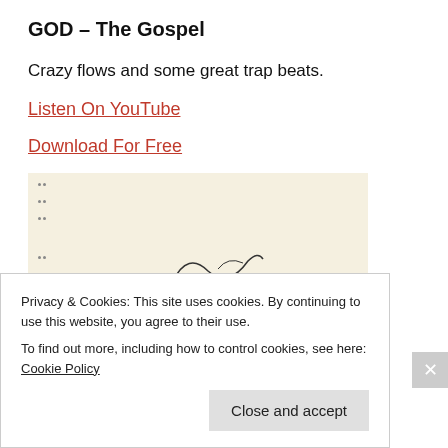GOD – The Gospel
Crazy flows and some great trap beats.
Listen On YouTube
Download For Free
[Figure (illustration): A partial view of a pale yellow/cream background illustration with small dot patterns on the left side and a sketched figure or swirl toward the bottom right.]
Privacy & Cookies: This site uses cookies. By continuing to use this website, you agree to their use.
To find out more, including how to control cookies, see here: Cookie Policy
Close and accept